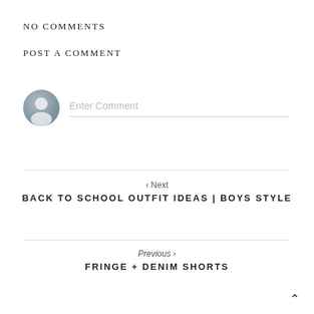NO COMMENTS
POST A COMMENT
[Figure (other): User avatar placeholder icon (grey circle with person silhouette) next to an Enter Comment text input field with bottom border]
< Next
BACK TO SCHOOL OUTFIT IDEAS | BOYS STYLE
Previous >
FRINGE + DENIM SHORTS